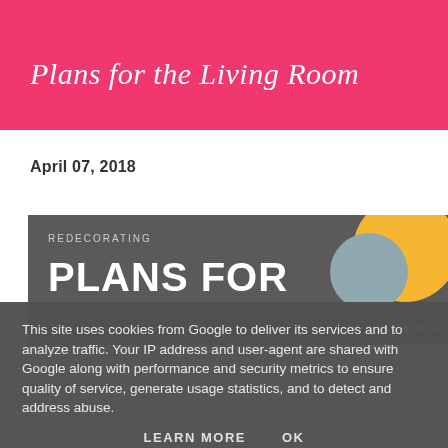Plans for the Living Room
April 07, 2018
[Figure (screenshot): Blog post preview banner with dark grey background, text 'REDECORATING' in small uppercase letters, large bold white text 'PLANS FOR', and decorative yellow and grey circles on the right side with white dots]
This site uses cookies from Google to deliver its services and to analyze traffic. Your IP address and user-agent are shared with Google along with performance and security metrics to ensure quality of service, generate usage statistics, and to detect and address abuse.
LEARN MORE    OK